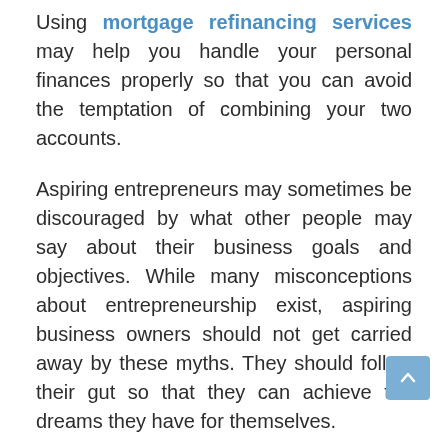Using mortgage refinancing services may help you handle your personal finances properly so that you can avoid the temptation of combining your two accounts.
Aspiring entrepreneurs may sometimes be discouraged by what other people may say about their business goals and objectives. While many misconceptions about entrepreneurship exist, aspiring business owners should not get carried away by these myths. They should follow their gut so that they can achieve the dreams they have for themselves.
Financial Literacy for Small Business Owners